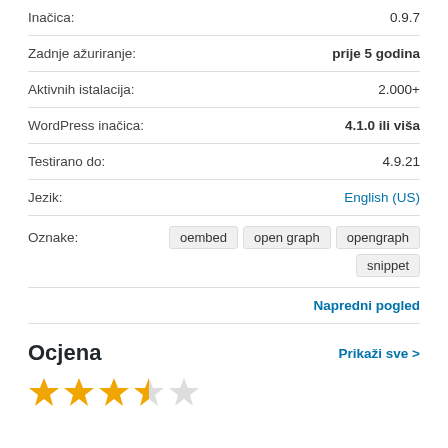| Inačica: | 0.9.7 |
| Zadnje ažuriranje: | prije 5 godina |
| Aktivnih istalacija: | 2.000+ |
| WordPress inačica: | 4.1.0 ili viša |
| Testirano do: | 4.9.21 |
| Jezik: | English (US) |
| Oznake: | oembed  open graph  opengraph  snippet |
Napredni pogled
Ocjena
Prikaži sve >
[Figure (other): 4 out of 5 stars rating shown with star icons]